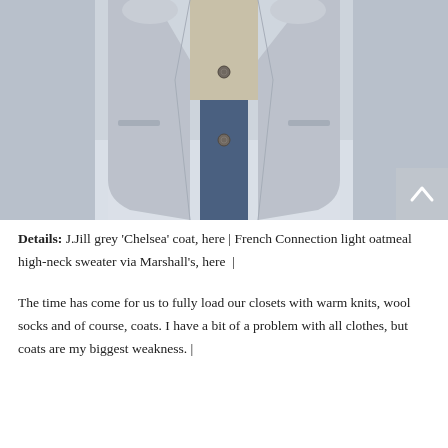[Figure (photo): Close-up photo of a person wearing a light grey wool button-up coat (J.Jill Chelsea coat) over a light oatmeal high-neck sweater, with blue jeans visible at the bottom. The background is a light grey/white wintry outdoor surface.]
Details: J.Jill grey 'Chelsea' coat, here | French Connection light oatmeal high-neck sweater via Marshall's, here |
The time has come for us to fully load our closets with warm knits, wool socks and of course, coats. I have a bit of a problem with all clothes, but coats are my biggest weakness. |